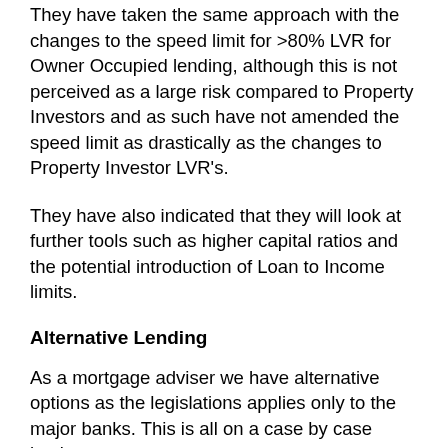They have taken the same approach with the changes to the speed limit for >80% LVR for Owner Occupied lending, although this is not perceived as a large risk compared to Property Investors and as such have not amended the speed limit as drastically as the changes to Property Investor LVR's.
They have also indicated that they will look at further tools such as higher capital ratios and the potential introduction of Loan to Income limits.
Alternative Lending
As a mortgage adviser we have alternative options as the legislations applies only to the major banks. This is all on a case by case basis.
With all of the banks portfolios varying in exposure at any given time always ensure you work with us as timing and the right lenders can make a real difference.